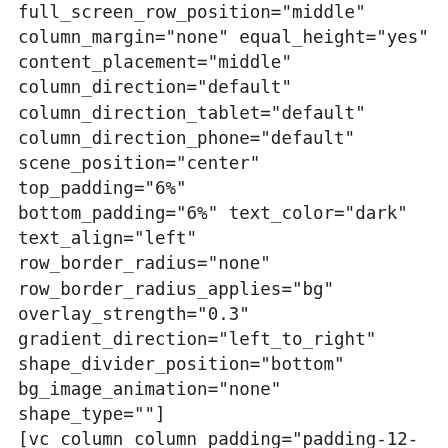full_screen_row_position="middle" column_margin="none" equal_height="yes" content_placement="middle" column_direction="default" column_direction_tablet="default" column_direction_phone="default" scene_position="center" top_padding="6%" bottom_padding="6%" text_color="dark" text_align="left" row_border_radius="none" row_border_radius_applies="bg" overlay_strength="0.3" gradient_direction="left_to_right" shape_divider_position="bottom" bg_image_animation="none" shape_type=""] [vc_column column_padding="padding-12-percent" column_padding_tablet="inherit" column_padding_phone="inherit" column_padding_position="all"